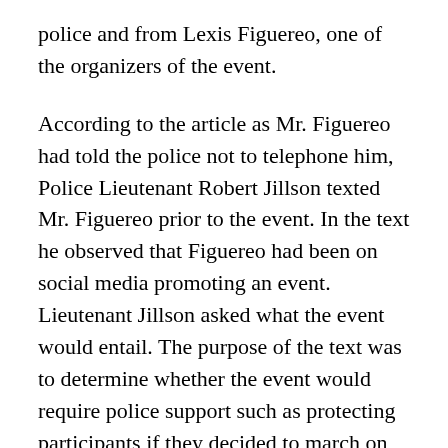police and from Lexis Figuereo, one of the organizers of the event.
According to the article as Mr. Figuereo had told the police not to telephone him, Police Lieutenant Robert Jillson texted Mr. Figuereo prior to the event. In the text he observed that Figuereo had been on social media promoting an event. Lieutenant Jillson asked what the event would entail. The purpose of the text was to determine whether the event would require police support such as protecting participants if they decided to march on the city streets.
Mr. Figuereo declined to provide any information beyond the fact that his group was going to have a